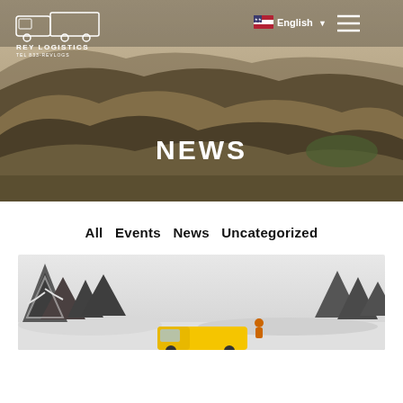[Figure (screenshot): Rey Logistics website header with hero image of rolling hills landscape, navigation bar with logo, English language selector, and hamburger menu]
NEWS
All   Events   News   Uncategorized
[Figure (photo): Snowy winter scene with snow-covered pine trees and a yellow truck partially visible at the bottom]